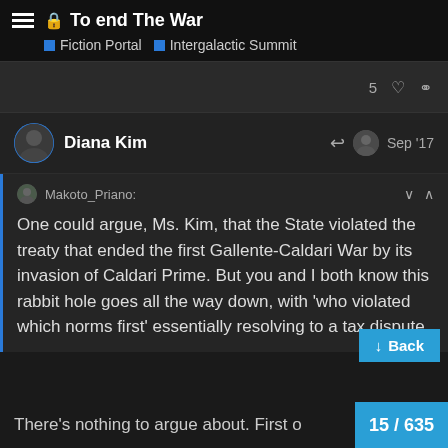To end The War — Fiction Portal | Intergalactic Summit
5 ♡ 🔗
Diana Kim — Sep '17
Makoto_Priano: One could argue, Ms. Kim, that the State violated the treaty that ended the first Gallente-Caldari War by its invasion of Caldari Prime. But you and I both know this rabbit hole goes all the way down, with 'who violated which norms first' essentially resolving to a tax dispute.
There's nothing to argue about. First o
15 / 635